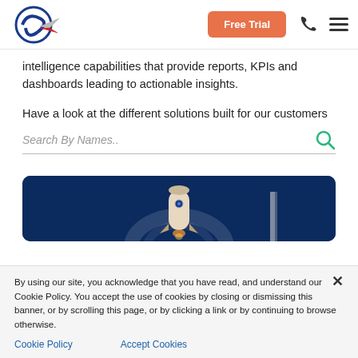Free Trial [navigation header with logo, Free Trial button, phone icon, menu icon]
intelligence capabilities that provide reports, KPIs and dashboards leading to actionable insights.
Have a look at the different solutions built for our customers
Search By Names..
[Figure (photo): Dark blue rounded rectangle image strip showing rocket/space imagery]
By using our site, you acknowledge that you have read, and understand our Cookie Policy. You accept the use of cookies by closing or dismissing this banner, or by scrolling this page, or by clicking a link or by continuing to browse otherwise.
Cookie Policy    Accept Cookies